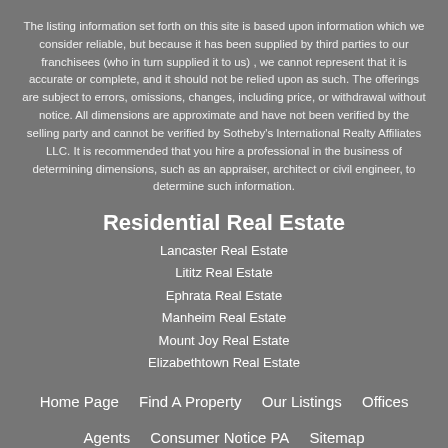The listing information set forth on this site is based upon information which we consider reliable, but because it has been supplied by third parties to our franchisees (who in turn supplied it to us) , we cannot represent that it is accurate or complete, and it should not be relied upon as such. The offerings are subject to errors, omissions, changes, including price, or withdrawal without notice. All dimensions are approximate and have not been verified by the selling party and cannot be verified by Sotheby's International Realty Affiliates LLC. It is recommended that you hire a professional in the business of determining dimensions, such as an appraiser, architect or civil engineer, to determine such information.
Residential Real Estate
Lancaster Real Estate
Lititz Real Estate
Ephrata Real Estate
Manheim Real Estate
Mount Joy Real Estate
Elizabethtown Real Estate
Home Page    Find A Property    Our Listings    Offices    Agents    Consumer Notice PA    Sitemap
English - United States    Español - América    Español - Europa
한국 -한국    中文 -中文